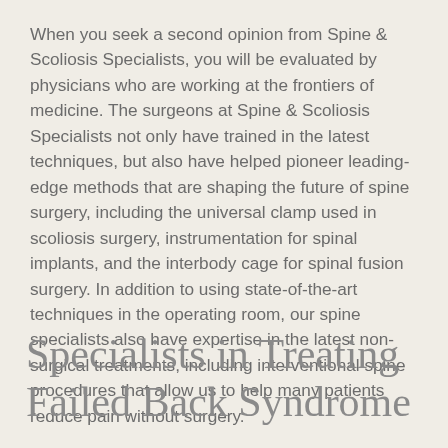When you seek a second opinion from Spine & Scoliosis Specialists, you will be evaluated by physicians who are working at the frontiers of medicine. The surgeons at Spine & Scoliosis Specialists not only have trained in the latest techniques, but also have helped pioneer leading-edge methods that are shaping the future of spine surgery, including the universal clamp used in scoliosis surgery, instrumentation for spinal implants, and the interbody cage for spinal fusion surgery. In addition to using state-of-the-art techniques in the operating room, our spine specialists also have expertise in the latest non-surgical treatments, including interventional spine procedures that allow us to help many patients reduce pain without surgery.
Specialists in Treating Failed Back Syndrome